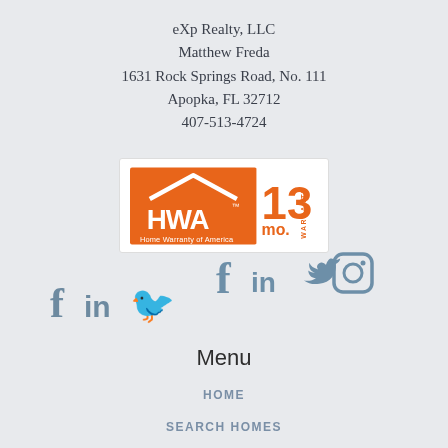eXp Realty, LLC
Matthew Freda
1631 Rock Springs Road, No. 111
Apopka, FL 32712
407-513-4724
[Figure (logo): HWA Home Warranty of America 13 mo. Warranty logo]
[Figure (infographic): Social media icons: Facebook, LinkedIn, Twitter, Instagram]
Menu
HOME
SEARCH HOMES
FEATURED